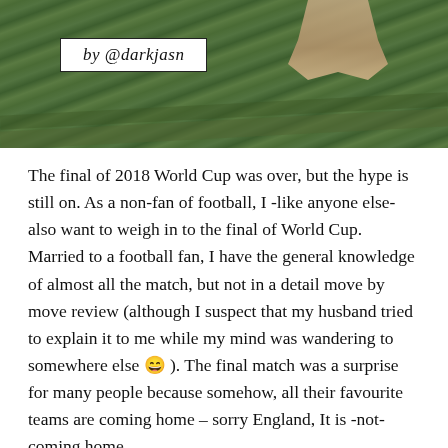[Figure (photo): Outdoor photo on grass with person's feet visible, containing a byline box reading 'by @darkjasn']
The final of 2018 World Cup was over, but the hype is still on. As a non-fan of football, I -like anyone else- also want to weigh in to the final of World Cup. Married to a football fan, I have the general knowledge of almost all the match, but not in a detail move by move review (although I suspect that my husband tried to explain it to me while my mind was wandering to somewhere else 😄 ). The final match was a surprise for many people because somehow, all their favourite teams are coming home – sorry England, It is -not- coming home.
France VS Croatia. No one really anticipated this match when the World Cup started, but that was the reality now. Much of unanticipated things are currently happening in this world – yes, I am pointing my finger to you; UK, USA